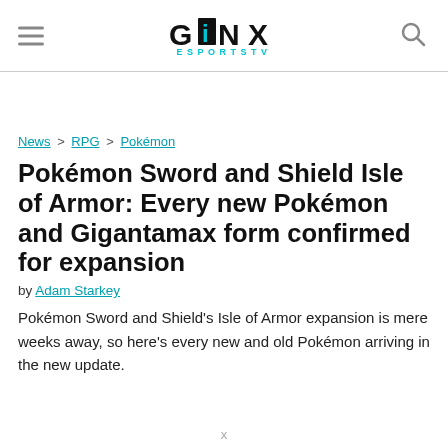GINX ESPORTS TV
News > RPG > Pokémon
Pokémon Sword and Shield Isle of Armor: Every new Pokémon and Gigantamax form confirmed for expansion
by Adam Starkey
Pokémon Sword and Shield's Isle of Armor expansion is mere weeks away, so here's every new and old Pokémon arriving in the new update.